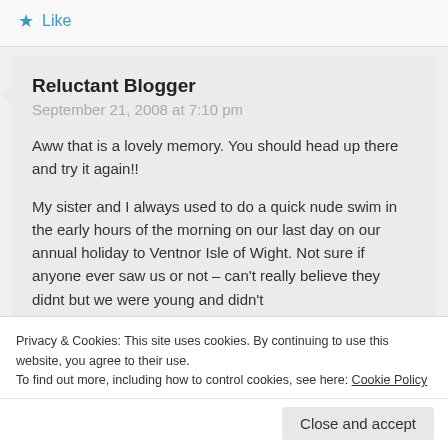Like
Reluctant Blogger
September 21, 2008 at 7:10 pm
Aww that is a lovely memory. You should head up there and try it again!!
My sister and I always used to do a quick nude swim in the early hours of the morning on our last day on our annual holiday to Ventnor Isle of Wight. Not sure if anyone ever saw us or not – can't really believe they didnt but we were young and didn't
Privacy & Cookies: This site uses cookies. By continuing to use this website, you agree to their use.
To find out more, including how to control cookies, see here: Cookie Policy
Close and accept